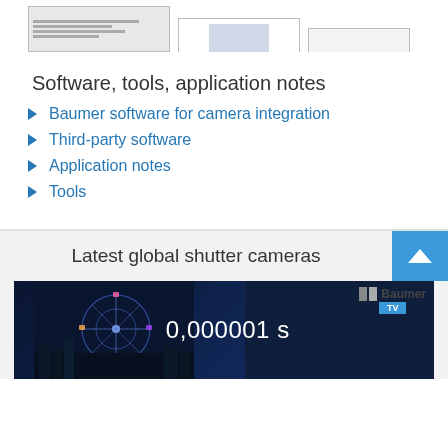[Figure (screenshot): Partial view of software screenshot thumbnails at top of page]
Software, tools, application notes
Baumer software for camera integration
Third-party software
Application notes
Tools
Latest global shutter cameras
[Figure (screenshot): Baumer TV video thumbnail showing a ferris wheel at night with text '0,000001 s' and Baumer TV logo]